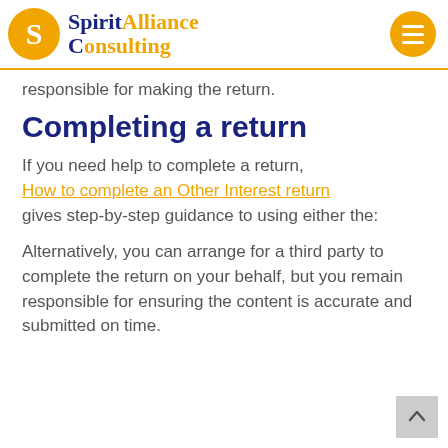Spirit Alliance Consulting
responsible for making the return.
Completing a return
If you need help to complete a return, How to complete an Other Interest return gives step-by-step guidance to using either the:
Alternatively, you can arrange for a third party to complete the return on your behalf, but you remain responsible for ensuring the content is accurate and submitted on time.